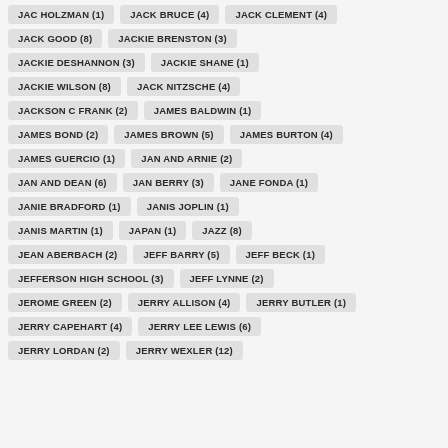JAC HOLZMAN (1)
JACK BRUCE (4)
JACK CLEMENT (4)
JACK GOOD (8)
JACKIE BRENSTON (3)
JACKIE DESHANNON (3)
JACKIE SHANE (1)
JACKIE WILSON (8)
JACK NITZSCHE (4)
JACKSON C FRANK (2)
JAMES BALDWIN (1)
JAMES BOND (2)
JAMES BROWN (5)
JAMES BURTON (4)
JAMES GUERCIO (1)
JAN AND ARNIE (2)
JAN AND DEAN (6)
JAN BERRY (3)
JANE FONDA (1)
JANIE BRADFORD (1)
JANIS JOPLIN (1)
JANIS MARTIN (1)
JAPAN (1)
JAZZ (8)
JEAN ABERBACH (2)
JEFF BARRY (5)
JEFF BECK (1)
JEFFERSON HIGH SCHOOL (3)
JEFF LYNNE (2)
JEROME GREEN (2)
JERRY ALLISON (4)
JERRY BUTLER (1)
JERRY CAPEHART (4)
JERRY LEE LEWIS (6)
JERRY LORDAN (2)
JERRY WEXLER (12)